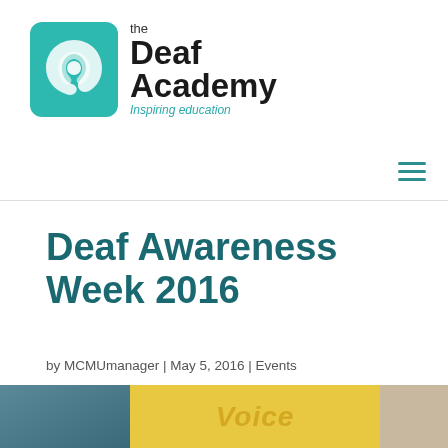the Deaf Academy — Inspiring education
Deaf Awareness Week 2016
by MCMUmanager | May 5, 2016 | Events
[Figure (photo): Photo strip showing people at a Deaf Awareness Week 2016 event, with a colorful 'Voice' sign in the center panel]